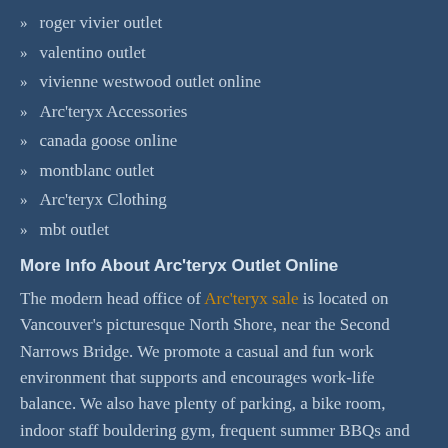roger vivier outlet
valentino outlet
vivienne westwood outlet online
Arc'teryx Accessories
canada goose online
montblanc outlet
Arc'teryx Clothing
mbt outlet
More Info About Arc'teryx Outlet Online
The modern head office of Arc'teryx sale is located on Vancouver's picturesque North Shore, near the Second Narrows Bridge. We promote a casual and fun work environment that supports and encourages work-life balance. We also have plenty of parking, a bike room, indoor staff bouldering gym, frequent summer BBQs and other events, as well as a great employee discount. In this impactful and integral role, the Director, Equipment Design creates the Design vision, strategy and implementation roadmap for Arc'ter